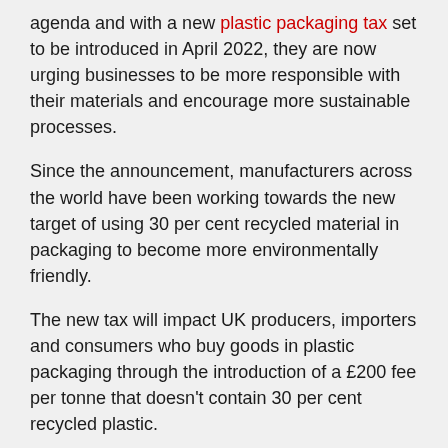agenda and with a new plastic packaging tax set to be introduced in April 2022, they are now urging businesses to be more responsible with their materials and encourage more sustainable processes.
Since the announcement, manufacturers across the world have been working towards the new target of using 30 per cent recycled material in packaging to become more environmentally friendly.
The new tax will impact UK producers, importers and consumers who buy goods in plastic packaging through the introduction of a £200 fee per tonne that doesn't contain 30 per cent recycled plastic.
Thomas Hudson, the Commercial Director of RPS, said: “The tax is a great way to focus on recycling and make sure we concentrate on reducing the impact of using new materials.
“There are plenty of packaging materials out there which are currently being disposed of, but they can